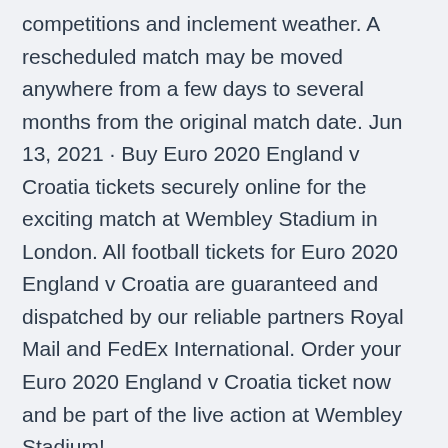competitions and inclement weather. A rescheduled match may be moved anywhere from a few days to several months from the original match date. Jun 13, 2021 · Buy Euro 2020 England v Croatia tickets securely online for the exciting match at Wembley Stadium in London. All football tickets for Euro 2020 England v Croatia are guaranteed and dispatched by our reliable partners Royal Mail and FedEx International. Order your Euro 2020 England v Croatia ticket now and be part of the live action at Wembley Stadium!
Wembley Stadium - London. 2020, Group stage - Group D. England --Croatia Menu.